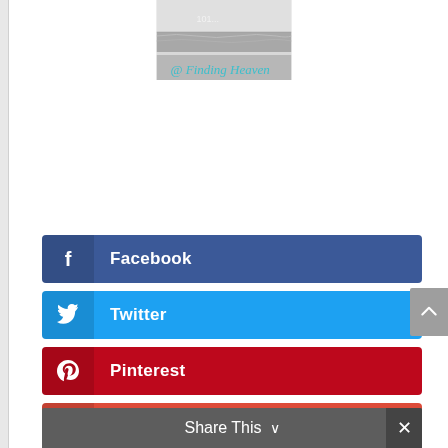[Figure (photo): Black and white beach/ocean photo with text overlay '@ Finding Heaven']
Facebook
Twitter
Pinterest
Google+
Share This